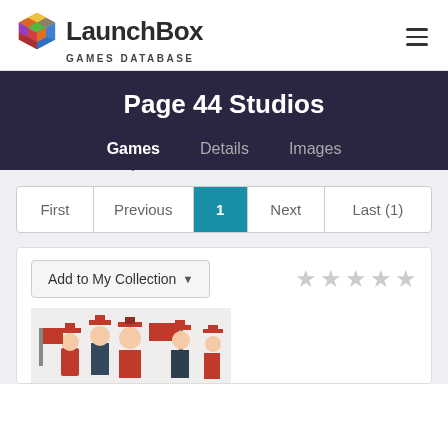LaunchBox GAMES DATABASE
Page 44 Studios
Games  Details  Images
First  Previous  1  Next  Last (1)
Add to My Collection
[Figure (photo): People in graduation caps and gowns holding red signs, game cover art thumbnail]